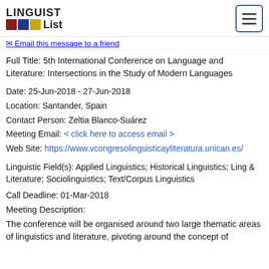LINGUIST List
Email this message to a friend
Full Title: 5th International Conference on Language and Literature: Intersections in the Study of Modern Languages
Date: 25-Jun-2018 - 27-Jun-2018
Location: Santander, Spain
Contact Person: Zeltia Blanco-Suárez
Meeting Email: < click here to access email >
Web Site: https://www.vcongresolinguisticayliteratura.unican.es/
Linguistic Field(s): Applied Linguistics; Historical Linguistics; Ling & Literature; Sociolinguistics; Text/Corpus Linguistics
Call Deadline: 01-Mar-2018
Meeting Description:
The conference will be organised around two large thematic areas of linguistics and literature, pivoting around the concept of